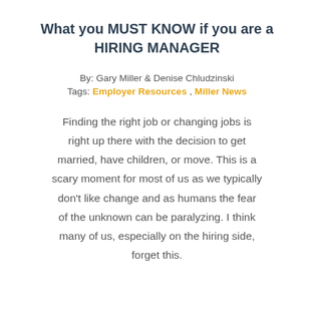What you MUST KNOW if you are a HIRING MANAGER
By: Gary Miller & Denise Chludzinski
Tags: Employer Resources , Miller News
Finding the right job or changing jobs is right up there with the decision to get married, have children, or move. This is a scary moment for most of us as we typically don't like change and as humans the fear of the unknown can be paralyzing. I think many of us, especially on the hiring side, forget this.